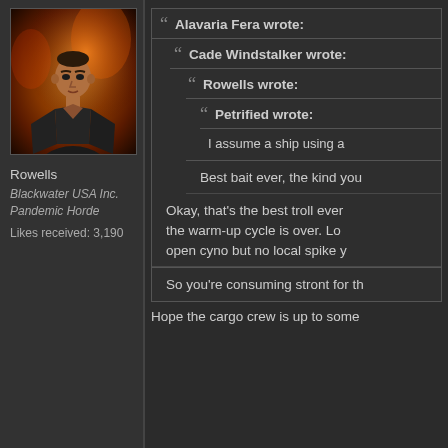[Figure (illustration): Avatar image of a male figure in a dark jacket against a fiery background]
Rowells
Blackwater USA Inc.
Pandemic Horde
Likes received: 3,190
Alavaria Fera wrote:
Cade Windstalker wrote:
Rowells wrote:
Petrified wrote:
I assume a ship using a
Best bait ever, the kind you
Okay, that's the best troll ever the warm-up cycle is over. Lo open cyno but no local spike y
So you're consuming stront for th
Hope the cargo crew is up to some